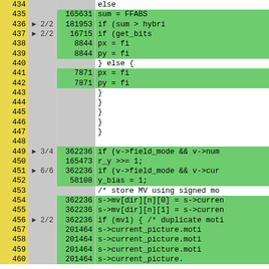| Line | Arrow | Count | Code |
| --- | --- | --- | --- |
| 434 |  |  | else |
| 435 |  | 165631 | sum = FFABS |
| 436 | ▶ 2/2 | 181953 | if (sum > hybri |
| 437 | ▶ 2/2 | 16715 | if (get_bits |
| 438 |  | 8844 | px = fi |
| 439 |  | 8844 | py = fi |
| 440 |  |  | } else { |
| 441 |  | 7871 | px = fi |
| 442 |  | 7871 | py = fi |
| 443 |  |  | } |
| 444 |  |  | } |
| 445 |  |  | } |
| 446 |  |  | } |
| 447 |  |  | } |
| 448 |  |  |  |
| 449 | ▶ 3/4 | 362236 | if (v->field_mode && v->num |
| 450 |  | 165473 | r_y >>= 1; |
| 451 | ▶ 6/6 | 362236 | if (v->field_mode && v->cur |
| 452 |  | 58108 | y_bias = 1; |
| 453 |  |  | /* store MV using signed mo |
| 454 |  | 362236 | s->mv[dir][n][0] = s->curren |
| 455 |  | 362236 | s->mv[dir][n][1] = s->curren |
| 456 | ▶ 2/2 | 362236 | if (mv1) { /* duplicate moti |
| 457 |  | 201464 | s->current_picture.moti |
| 458 |  | 201464 | s->current_picture.moti |
| 459 |  | 201464 | s->current_picture.moti |
| 460 |  | 201464 | s->current_picture. |